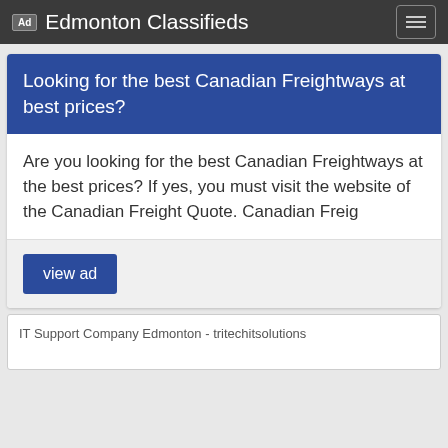Ad Edmonton Classifieds
Looking for the best Canadian Freightways at best prices?
Are you looking for the best Canadian Freightways at the best prices? If yes, you must visit the website of the Canadian Freight Quote. Canadian Freig
view ad
[Figure (other): Broken image placeholder reading: IT Support Company Edmonton - tritechitsolutions]